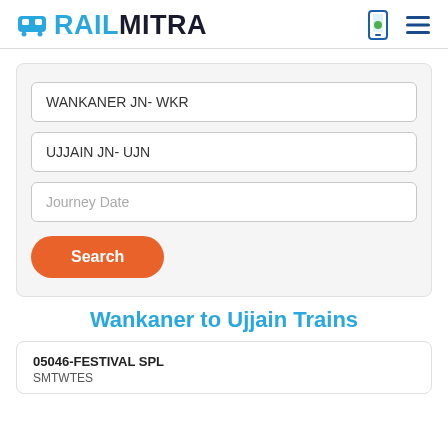RAILMITRA
WANKANER JN- WKR
UJJAIN JN- UJN
Journey Date
Search
Wankaner to Ujjain Trains
05046-FESTIVAL SPL
SMTWTES